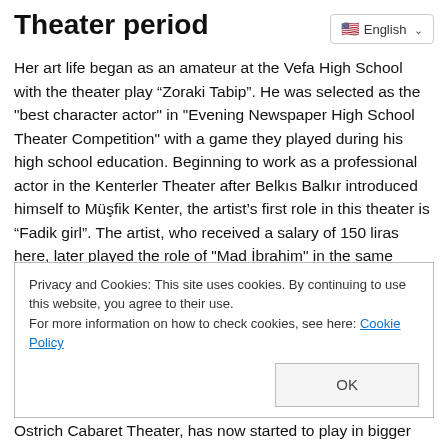Theater period
Her art life began as an amateur at the Vefa High School with the theater play “Zoraki Tabip”. He was selected as the "best character actor" in "Evening Newspaper High School Theater Competition" with a game they played during his high school education. Beginning to work as a professional actor in the Kenterler Theater after Belkıs Balkır introduced himself to Müşfik Kenter, the artist’s first role in this theater is “Fadik girl”. The artist, who received a salary of 150 liras here, later played the role of "Mad İbrahim" in the same theater and his salary was 300 liras. The artist, who left here and moved to the Ulvi Uraz Theater, was on stage for 4 years in this theater. In this
Privacy and Cookies: This site uses cookies. By continuing to use this website, you agree to their use.
For more information on how to check cookies, see here: Cookie Policy
Ostrich Cabaret Theater, has now started to play in bigger